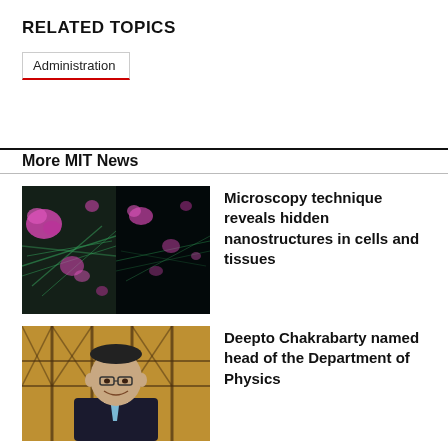RELATED TOPICS
Administration
More MIT News
[Figure (photo): Two-panel fluorescence microscopy image showing pink and green nanostructures in cells and tissues]
Microscopy technique reveals hidden nanostructures in cells and tissues
[Figure (photo): Portrait photo of Deepto Chakrabarty, a man in a dark suit with a light blue tie, smiling, with a window background]
Deepto Chakrabarty named head of the Department of Physics